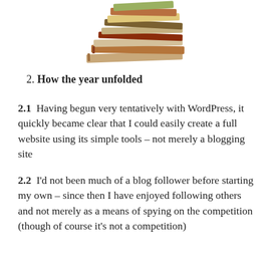[Figure (photo): A stack of books photographed from the side, partially cropped at the top of the page.]
2. How the year unfolded
2.1  Having begun very tentatively with WordPress, it quickly became clear that I could easily create a full website using its simple tools – not merely a blogging site
2.2  I'd not been much of a blog follower before starting my own – since then I have enjoyed following others and not merely as a means of spying on the competition (though of course it's not a competition)